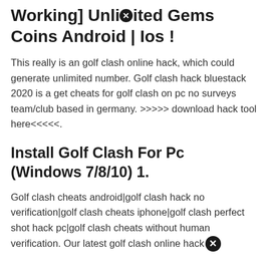Working] Unlimited Gems Coins Android | Ios !
This really is an golf clash online hack, which could generate unlimited number. Golf clash hack bluestack 2020 is a get cheats for golf clash on pc no surveys team/club based in germany. >>>>> download hack tool here<<<<<.
Install Golf Clash For Pc (Windows 7/8/10) 1.
Golf clash cheats android|golf clash hack no verification|golf clash cheats iphone|golf clash perfect shot hack pc|golf clash cheats without human verification. Our latest golf clash online hack...